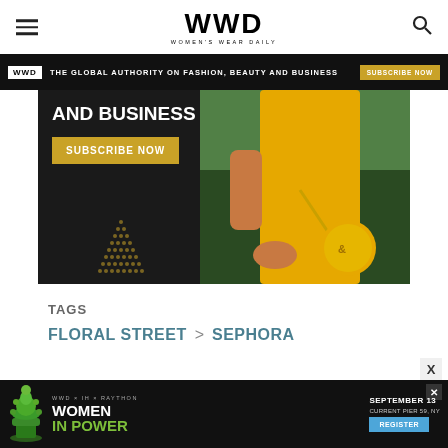WWD Women's Wear Daily
[Figure (screenshot): WWD banner ad: black background with 'THE GLOBAL AUTHORITY ON FASHION, BEAUTY AND BUSINESS' and SUBSCRIBE NOW button in gold]
[Figure (photo): WWD advertisement showing woman in yellow dress holding yellow circular crossbody bag with AND BUSINESS text and SUBSCRIBE NOW gold button, dark background with dot pattern]
TAGS
FLORAL STREET > SEPHORA
[Figure (screenshot): Bottom banner ad: WWD x IH x Raython Women In Power event, September 13 Current Pier 59 NY, Register button, green chess queen icon]